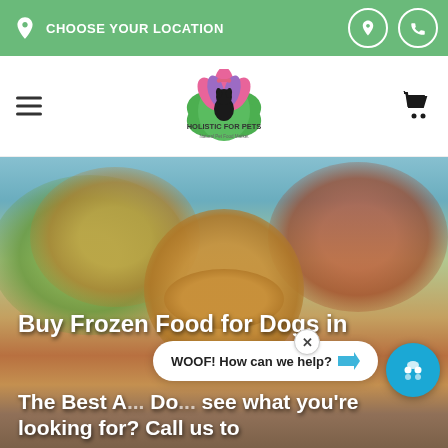CHOOSE YOUR LOCATION
[Figure (logo): Holistic for Pets logo with lotus flower and dog silhouette, text: HOLISTIC FOR PETS Natural Pet Food Market]
[Figure (photo): Golden dog in outdoor autumn setting with blurred trees background - hero image]
Buy Frozen Food for Dogs in
The Best A... Do... see what you're looking for? Call us to
WOOF! How can we help?